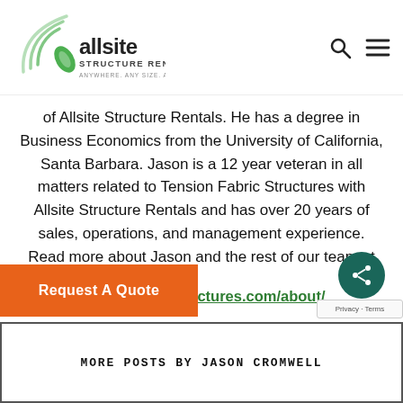Jason Cromwell - Allsite Structure Rentals
[Figure (logo): Allsite Structure Rentals logo with stylized signal/wifi arcs and leaf icon, tagline: ANYWHERE. ANY SIZE. ANY TIME.]
of Allsite Structure Rentals. He has a degree in Business Economics from the University of California, Santa Barbara. Jason is a 12 year veteran in all matters related to Tension Fabric Structures with Allsite Structure Rentals and has over 20 years of sales, operations, and management experience. Read more about Jason and the rest of our team at https://allsitestructures.com/about/
Request A Quote
MORE POSTS BY JASON CROMWELL